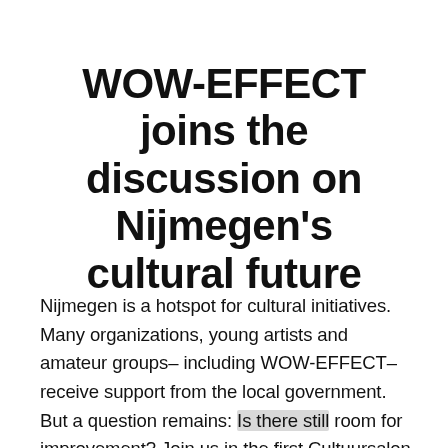WOW-EFFECT joins the discussion on Nijmegen's cultural future
Nijmegen is a hotspot for cultural initiatives. Many organizations, young artists and amateur groups– including WOW-EFFECT– receive support from the local government. But a question remains: Is there still room for improvement? Join us in the first Cultuursalon